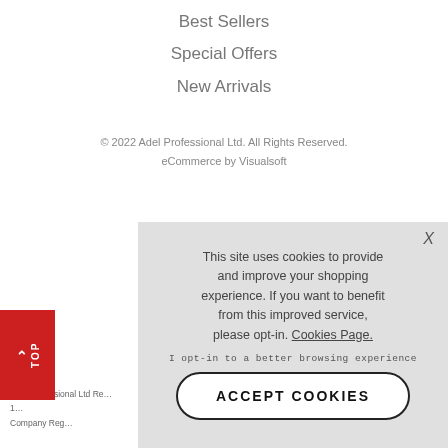Best Sellers
Special Offers
New Arrivals
© 2022 Adel Professional Ltd. All Rights Reserved.
eCommerce by Visualsoft
This site uses cookies to provide and improve your shopping experience. If you want to benefit from this improved service, please opt-in. Cookies Page.
I opt-in to a better browsing experience
ACCEPT COOKIES
Adel Professional Ltd Re...
1...
Company Reg...